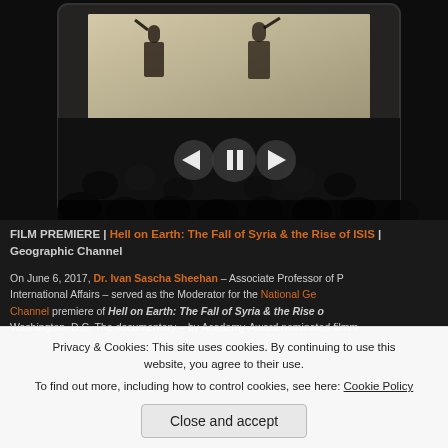[Figure (photo): A screenshot of a video player showing a documentary film premiere event. The screen at the top shows silhouettes of armed figures in a bright projection. Below, an audience sits in a darkened theater. Video playback controls (back, pause, forward) are overlaid in the center.]
FILM PREMIERE | Hell on Earth: The Fall of Syria & the Rise of ISIS | National Geographic Channel
On June 6, 2017, Dr. Ivan Sascha Sheehan – Associate Professor of P... International Affairs – served as the Moderator for the National Geographic Channel premiere of Hell on Earth: The Fall of Syria & the Rise o... Washington, D.C. The documentary – by Academy-Award nominated filmm...
Privacy & Cookies: This site uses cookies. By continuing to use this website, you agree to their use.
To find out more, including how to control cookies, see here: Cookie Policy
[Close and accept]